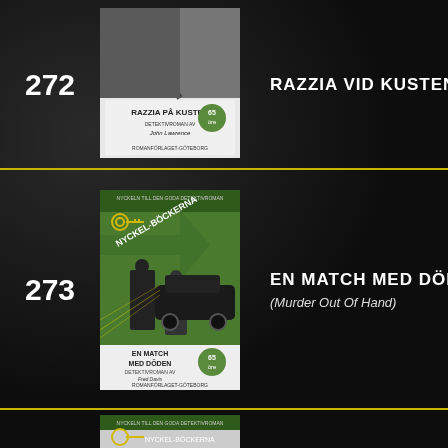272
[Figure (photo): Book cover: Razzia på Kusten, black and white, Romanförlaget-Göteborg, 65 öre]
RAZZIA VID KUSTEN
273
[Figure (photo): Book cover: En Match Med Döden, green and black, Nyckel-Böckerna, key logo, Romanförlaget-Göteborg, 65 öre, detective figures]
EN MATCH MED DÖDEN
(Murder Out Of Hand)
[Figure (photo): Book cover: partial view, Nyckel-Böckerna, key logo, black and white]